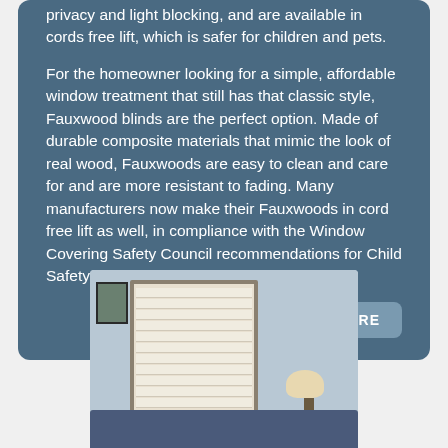privacy and light blocking, and are available in cords free lift, which is safer for children and pets.
For the homeowner looking for a simple, affordable window treatment that still has that classic style, Fauxwood blinds are the perfect option. Made of durable composite materials that mimic the look of real wood, Fauxwoods are easy to clean and care for and are more resistant to fading. Many manufacturers now make their Fauxwoods in cord free lift as well, in compliance with the Window Covering Safety Council recommendations for Child Safety.
READ MORE
[Figure (photo): Interior room photo showing white plantation shutters on a window, with a lamp and decorative pillows visible]